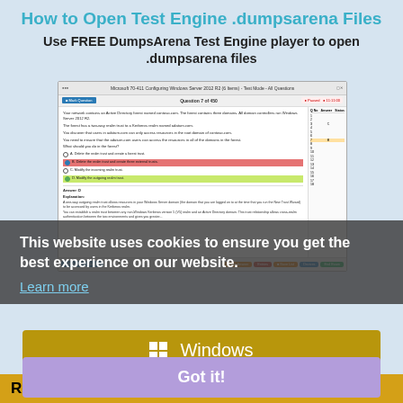How to Open Test Engine .dumpsarena Files
Use FREE DumpsArena Test Engine player to open .dumpsarena files
[Figure (screenshot): Screenshot of DumpsArena Test Engine showing Question 7 of 450 with multiple choice answers, sidebar with question list, and navigation buttons at bottom.]
This website uses cookies to ensure you get the best experience on our website.
Learn more
Windows
Got it!
Refund Policy